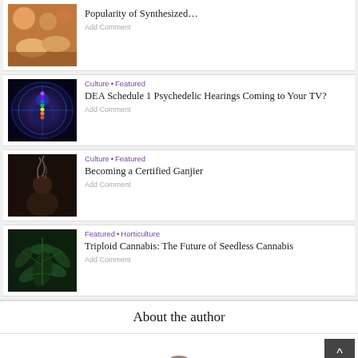Popularity of Synthesized... Add Comment
Culture • Featured
DEA Schedule 1 Psychedelic Hearings Coming to Your TV?
Add Comment
Culture • Featured
Becoming a Certified Ganjier
Add Comment
Featured • Horticulture
Triploid Cannabis: The Future of Seedless Cannabis
Add Comment
About the author
[Figure (photo): Circular author avatar photo partially visible at bottom]